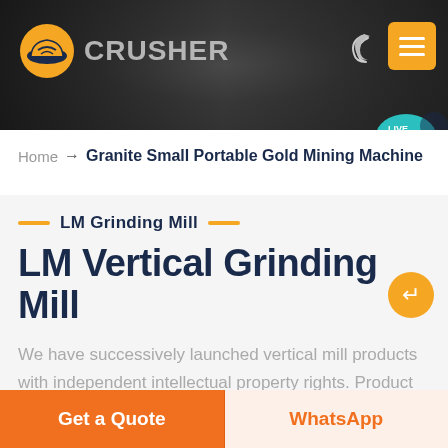[Figure (screenshot): Website header banner with dark mining/crusher background image, company logo (orange helmet icon) and CRUSHER text on left, moon icon and orange menu button on right, teal live chat bubble in bottom-right corner]
Home → Granite Small Portable Gold Mining Machine
LM Grinding Mill
LM Vertical Grinding Mill
We have successively launched vertical mill products with independent intellectual property rights. Product Features: Integration of multiple functions, more stable and reliable production and more excellent capacity